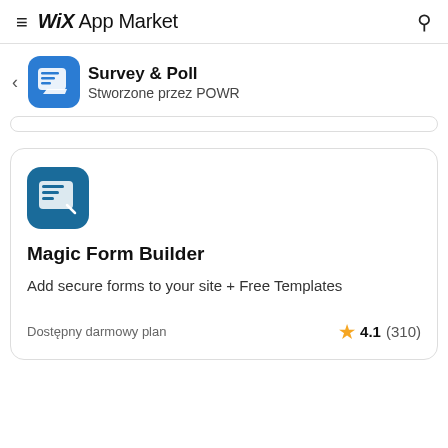WiX App Market
Survey & Poll – Stworzone przez POWR
Magic Form Builder
Add secure forms to your site + Free Templates
Dostępny darmowy plan
4.1 (310)